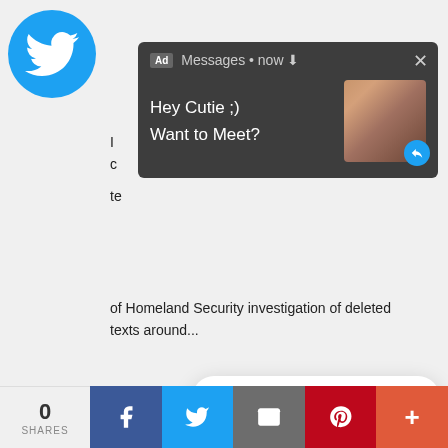[Figure (screenshot): Twitter/social media page screenshot with multiple overlapping UI elements: a dark notification popup ad saying 'Hey Cutie ;) Want to Meet?', a white modal dialog saying 'Click OK To Continue' with an OK button, a video overlay showing 'This Day In History' with date August 12, tweet content mentioning Homeland Security investigation of deleted texts, All In with Chris Hayes retweet section, and a share bar at the bottom with Facebook, Twitter, email, Pinterest, and more buttons showing 0 SHARES]